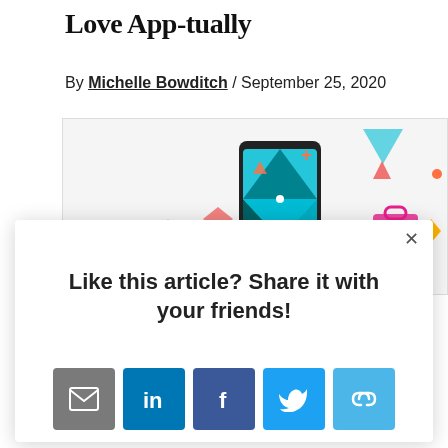Love App-tually
By Michelle Bowditch / September 25, 2020
[Figure (illustration): Colorful illustration of a smartphone surrounded by geometric shapes, triangles, diamonds, and app icons in teal, blue, green, orange, pink and yellow colors]
Like this article? Share it with your friends!